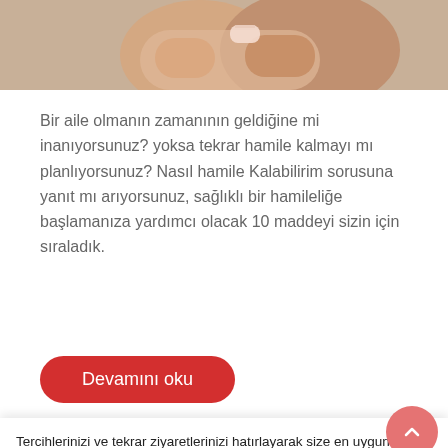[Figure (photo): Partial view of a couple holding hands, suggesting a family/pregnancy theme, cropped at top of page.]
Bir aile olmanın zamanının geldiğine mi inanıyorsunuz? yoksa tekrar hamile kalmayı mı planlıyorsunuz? Nasıl hamile Kalabilirim sorusuna yanıt mı arıyorsunuz, sağlıklı bir hamileliğe başlamanıza yardımcı olacak 10 maddeyi sizin için sıraladık.
Devamını oku
Tercihlerinizi ve tekrar ziyaretlerinizi hatırlayarak size en uygun deneyimi sunmak için web sitemizde çerezleri kullanıyoruz. "Tümünü Kabul Et" seçeneğine tıklayarak TÜM çerezlerin kullanımına izin vermiş olursunuz. Ancak, kontrollü bir onay vermek için "Çerez Ayarları"nı ziyaret edebilirsiniz.
Cerez Ayarları
KABUL ET